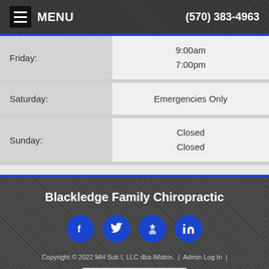MENU  (570) 383-4963
| Day | Hours |
| --- | --- |
| Friday: | 9:00am
7:00pm |
| Saturday: | Emergencies Only |
| Sunday: | Closed
Closed |
Blackledge Family Chiropractic
[Figure (infographic): Four social media icon circles: Facebook (f), Twitter (bird), Yelp (star burst), LinkedIn (in)]
Copyright © 2022 MH Sub I, LLC dba iMatrix. | Admin Log In | Site Map
Accessibility View